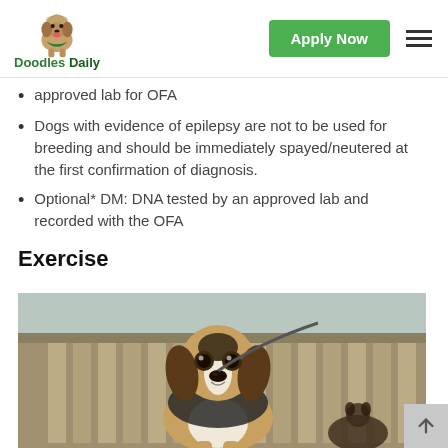Doodles Daily — Apply Now [navigation header]
approved lab for OFA
Dogs with evidence of epilepsy are not to be used for breeding and should be immediately spayed/neutered at the first confirmation of diagnosis.
Optional* DM: DNA tested by an approved lab and recorded with the OFA
Exercise
[Figure (photo): Two dogs (beagles/hound-type dogs) outdoors near a wooden fence structure; one dog looking directly at the camera]